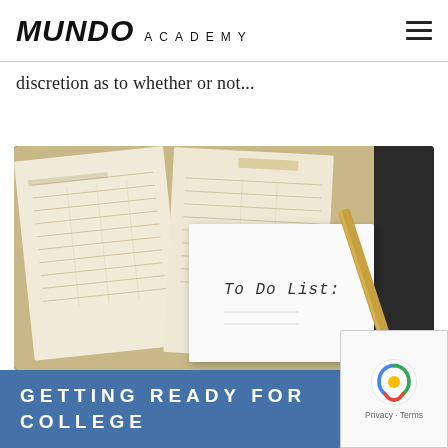MUNDO ACADEMY
discretion as to whether or not...
[Figure (photo): Open planner/diary with calendar pages and a sticky note reading 'To Do List:' with a pen resting beside it on a dark background]
GETTING READY FOR COLLEGE